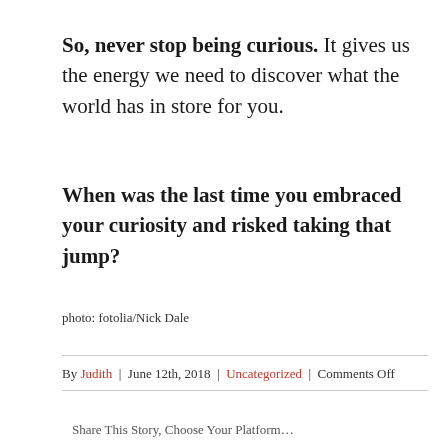So, never stop being curious. It gives us the energy we need to discover what the world has in store for you.
When was the last time you embraced your curiosity and risked taking that jump?
photo: fotolia/Nick Dale
By Judith | June 12th, 2018 | Uncategorized | Comments Off